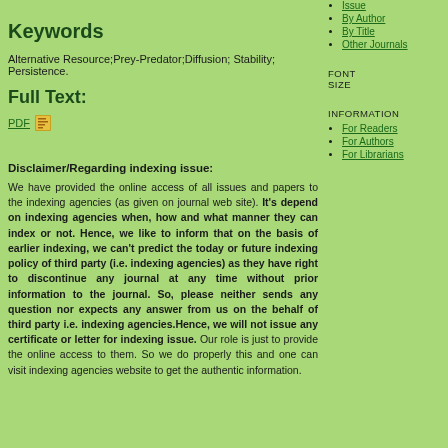Keywords
Alternative Resource;Prey-Predator;Diffusion; Stability; Persistence.
Full Text:
PDF
Disclaimer/Regarding indexing issue:
We have provided the online access of all issues and papers to the indexing agencies (as given on journal web site). It's depend on indexing agencies when, how and what manner they can index or not. Hence, we like to inform that on the basis of earlier indexing, we can't predict the today or future indexing policy of third party (i.e. indexing agencies) as they have right to discontinue any journal at any time without prior information to the journal. So, please neither sends any question nor expects any answer from us on the behalf of third party i.e. indexing agencies.Hence, we will not issue any certificate or letter for indexing issue. Our role is just to provide the online access to them. So we do properly this and one can visit indexing agencies website to get the authentic information.
Issue
By Author
By Title
Other Journals
FONT SIZE
INFORMATION
For Readers
For Authors
For Librarians